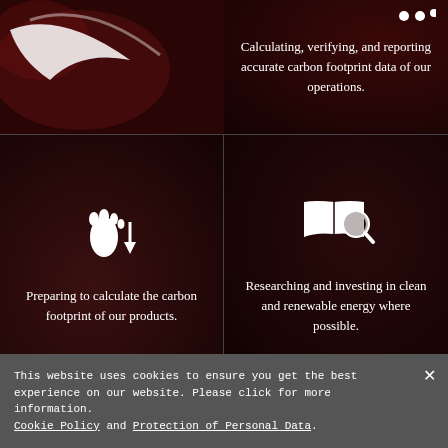[Figure (photo): Dark red background image with white swoosh/logo element on the top left panel]
Calculating, verifying, and reporting accurate carbon footprint data of our operations.
[Figure (infographic): Footprint icon with downward arrow on dark red background, representing carbon footprint reduction]
Preparing to calculate the carbon footprint of our products.
[Figure (infographic): Book with magnifying glass icon on dark red background, representing research into clean and renewable energy]
Researching and investing in clean and renewable energy where possible.
This website uses cookies to ensure you get the best experience on our website. Please click for more information. Cookie Policy and Protection of Personal Data.